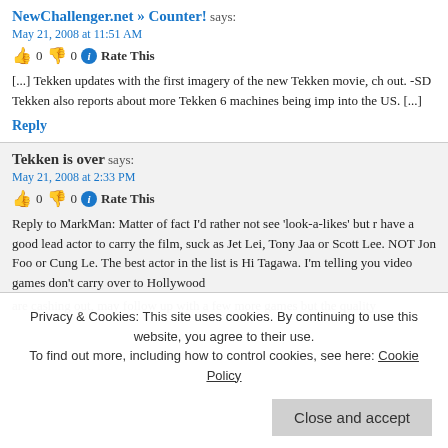NewChallenger.net » Counter! says: May 21, 2008 at 11:51 AM
👍 0 👎 0 ℹ Rate This
[...] Tekken updates with the first imagery of the new Tekken movie, ch out. -SD Tekken also reports about more Tekken 6 machines being imp into the US. [...]
Reply
Tekken is over says: May 21, 2008 at 2:33 PM
👍 0 👎 0 ℹ Rate This
Reply to MarkMan: Matter of fact I'd rather not see 'look-a-likes' but have a good lead actor to carry the film, suck as Jet Lei, Tony Jaa or Scott Lee. NOT Jon Foo or Cung Le. The best actor in the list is Hi Tagawa. I'm telling you video games don't carry over to Hollywood
Privacy & Cookies: This site uses cookies. By continuing to use this website, you agree to their use. To find out more, including how to control cookies, see here: Cookie Policy
Close and accept
are cashing out, may follow up with a few more games but the quality